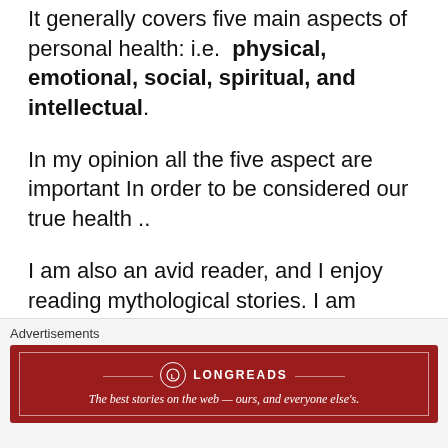It generally covers five main aspects of personal health: i.e.  physical, emotional, social, spiritual, and intellectual.
In my opinion all the five aspect are important In order to be considered our true health ..
I am also an avid reader, and I enjoy reading mythological stories. I am curious to know different cultures and people of different countries.
[Figure (other): Longreads advertisement banner in dark red with tagline: The best stories on the web — ours, and everyone else's.]